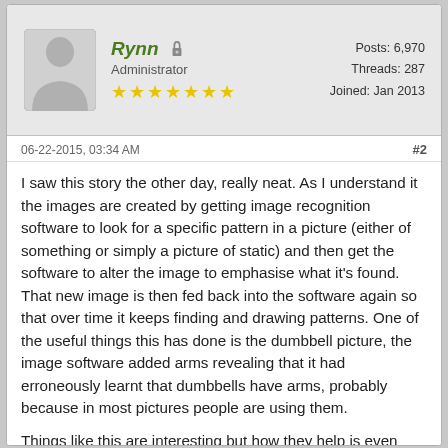[Figure (illustration): Generic grey silhouette avatar of a person (head and shoulders)]
Rynn (Administrator, 7 stars) Posts: 6,970 Threads: 287 Joined: Jan 2013
06-22-2015, 03:34 AM #2
I saw this story the other day, really neat. As I understand it the images are created by getting image recognition software to look for a specific pattern in a picture (either of something or simply a picture of static) and then get the software to alter the image to emphasise what it's found. That new image is then fed back into the software again so that over time it keeps finding and drawing patterns. One of the useful things this has done is the dumbbell picture, the image software added arms revealing that it had erroneously learnt that dumbbells have arms, probably because in most pictures people are using them.

Things like this are interesting but how they help is even more fascinating. I can't help but wonder if this could also be an early indication that if we don't teach neural networks properly they may find patterns that are wrong